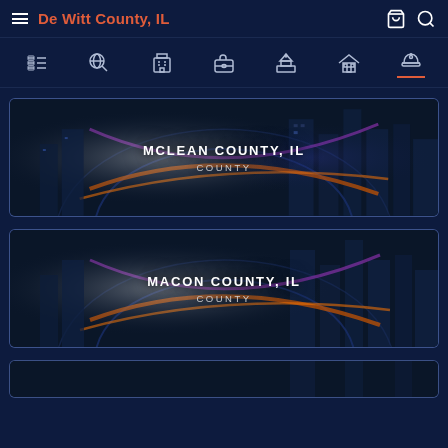De Witt County, IL
[Figure (screenshot): Navigation icon bar with list, search, building, briefcase, capitol, house, and helmet icons]
[Figure (illustration): Card banner for MCLEAN COUNTY, IL with dark city skyline background]
MCLEAN COUNTY, IL
COUNTY
[Figure (illustration): Card banner for MACON COUNTY, IL with dark city skyline background]
MACON COUNTY, IL
COUNTY
[Figure (illustration): Partial card banner for third county listing]